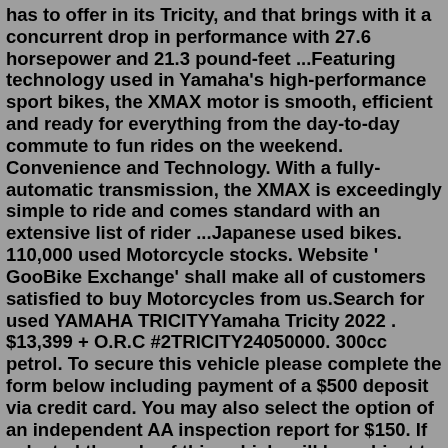has to offer in its Tricity, and that brings with it a concurrent drop in performance with 27.6 horsepower and 21.3 pound-feet ...Featuring technology used in Yamaha's high-performance sport bikes, the XMAX motor is smooth, efficient and ready for everything from the day-to-day commute to fun rides on the weekend. Convenience and Technology. With a fully-automatic transmission, the XMAX is exceedingly simple to ride and comes standard with an extensive list of rider ...Japanese used bikes. 110,000 used Motorcycle stocks. Website ' GooBike Exchange' shall make all of customers satisfied to buy Motorcycles from us.Search for used YAMAHA TRICITYYamaha Tricity 2022 . $13,399 + O.R.C #2TRICITY24050000. 300cc petrol. To secure this vehicle please complete the form below including payment of a $500 deposit via credit card. You may also select the option of an independent AA inspection report for $150. If selected the sale of this vehicle will be subject to your satisfaction of this report.Official PASSWORD MODIFIKASI YouTube channel!!!NEW